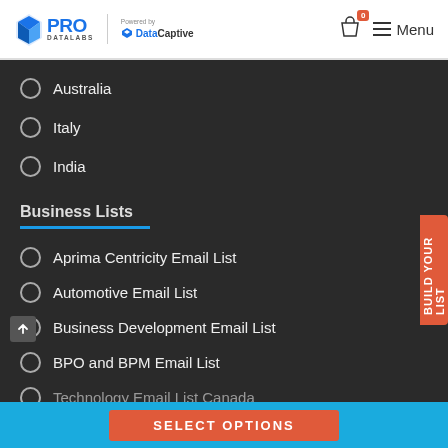PRO DATALABS | Powered by DataCaptive | Menu
Australia
Italy
India
Business Lists
Aprima Centricity Email List
Automotive Email List
Business Development Email List
BPO and BPM Email List
Technology Email List Canada
SELECT OPTIONS